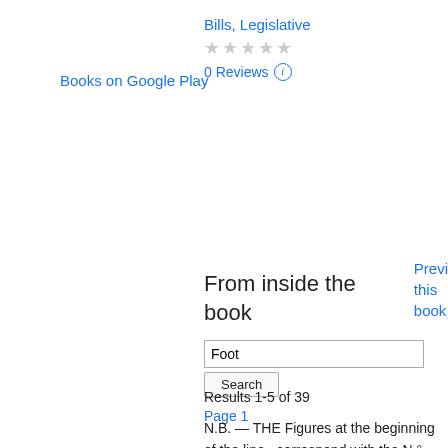Books on Google Play
Bills, Legislative
★★★★★ 0 Reviews
Preview this book
From inside the book
Foot
Search
Results 1-5 of 39
Page 1
N.B. — THE Figures at the beginning of the line , correspond with the N ° at the foot of each Paper ; and the Figures at the end of the line , refer to